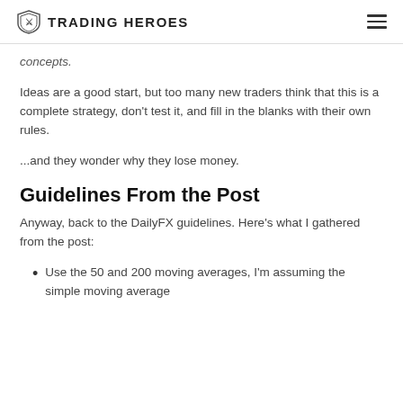TRADING HEROES
concepts.
Ideas are a good start, but too many new traders think that this is a complete strategy, don't test it, and fill in the blanks with their own rules.
...and they wonder why they lose money.
Guidelines From the Post
Anyway, back to the DailyFX guidelines. Here's what I gathered from the post:
Use the 50 and 200 moving averages, I'm assuming the simple moving average